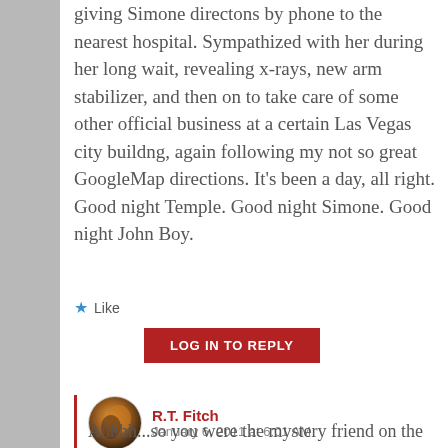giving Simone directons by phone to the nearest hospital. Sympathized with her during her long wait, revealing x-rays, new arm stabilizer, and then on to take care of some other official business at a certain Las Vegas city buildng, again following my not so great GoogleMap directions. It's been a day, all right. Good night Temple. Good night Simone. Good night John Boy.
Like
LOG IN TO REPLY
R.T. Fitch
January 6, 2011 at 6:01 AM
Ahhhh...so you were the mystery friend on the other line...gotcha, good job as Simone was concerned that the Doc Temple might think